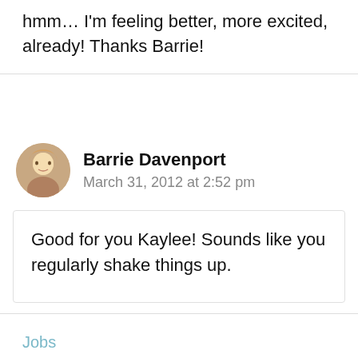hmm… I'm feeling better, more excited, already! Thanks Barrie!
Barrie Davenport
March 31, 2012 at 2:52 pm
Good for you Kaylee! Sounds like you regularly shake things up.
Jobs